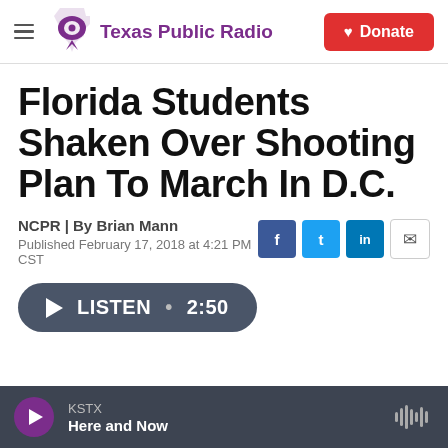Texas Public Radio | Donate
Florida Students Shaken Over Shooting Plan To March In D.C.
NCPR | By Brian Mann
Published February 17, 2018 at 4:21 PM CST
LISTEN • 2:50
KSTX Here and Now